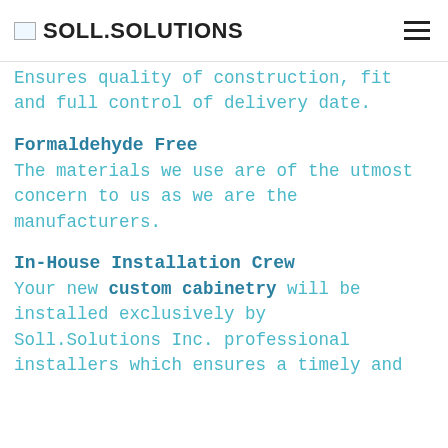SOLL.SOLUTIONS
Ensures quality of construction, fit and full control of delivery date.
Formaldehyde Free
The materials we use are of the utmost concern to us as we are the manufacturers.
In-House Installation Crew
Your new custom cabinetry will be installed exclusively by Soll.Solutions Inc. professional installers which ensures a timely and